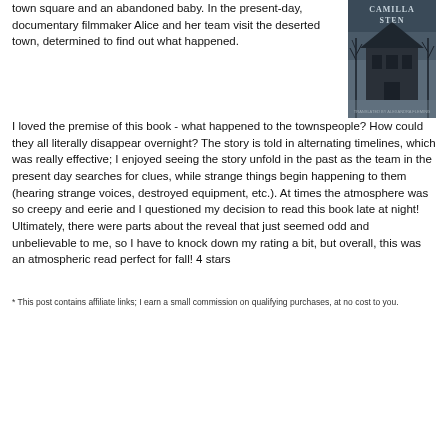town square and an abandoned baby. In the present-day, documentary filmmaker Alice and her team visit the deserted town, determined to find out what happened.  I loved the premise of this book - what happened to the townspeople?  How could they all literally disappear overnight?  The story is told in alternating timelines, which was really effective; I enjoyed seeing the story unfold in the past as the team in the present day searches for clues, while strange things begin happening to them (hearing strange voices, destroyed equipment, etc.).  At times the atmosphere was so creepy and eerie and I questioned my decision to read this book late at night!  Ultimately, there were parts about the reveal that just seemed odd and unbelievable to me, so I have to knock down my rating a bit, but overall, this was an atmospheric read perfect for fall!  4 stars
[Figure (illustration): Book cover for a novel by Camilla Sten, showing a dark atmospheric image of an abandoned house with bare trees, with text 'CAMILLA STEN' and 'TRANSLATED BY ALEXANDRA FLEMING']
* This post contains affiliate links; I earn a small commission on qualifying purchases, at no cost to you.